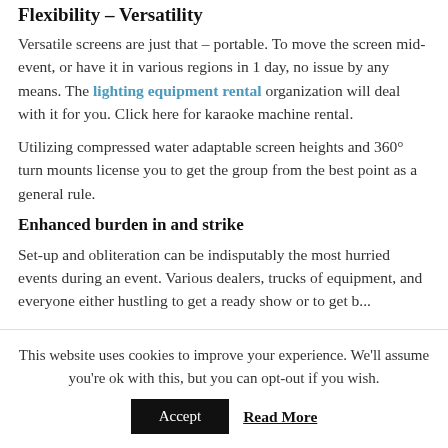Flexibility – Versatility
Versatile screens are just that – portable. To move the screen mid-event, or have it in various regions in 1 day, no issue by any means. The lighting equipment rental organization will deal with it for you. Click here for karaoke machine rental.
Utilizing compressed water adaptable screen heights and 360° turn mounts license you to get the group from the best point as a general rule.
Enhanced burden in and strike
Set-up and obliteration can be indisputably the most hurried events during an event. Various dealers, trucks of equipment, and everyone either hustling to get a ready show or to get b...
This website uses cookies to improve your experience. We'll assume you're ok with this, but you can opt-out if you wish.